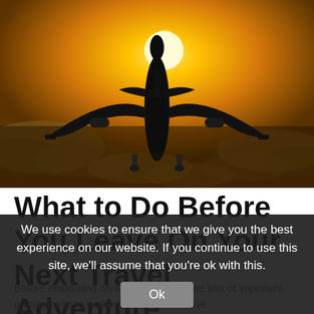[Figure (photo): Airplane silhouette viewed from below flying toward the sun at sunset, dramatic orange and golden sky with clouds]
What to Do Before You Leave On Your Next Travel Adventure
Before embarking on a journey, there are lots of important preparations to make. Every trip will have
We use cookies to ensure that we give you the best experience on our website. If you continue to use this site, we'll assume that you're ok with this.